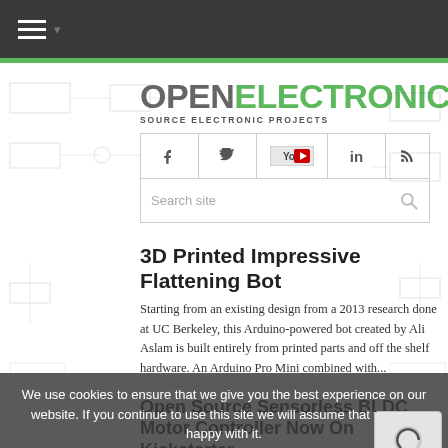OPEN ELECTRONICS - Source Electronic Projects
[Figure (logo): Open Electronics logo with hamburger menu and green bar]
[Figure (screenshot): Social media icons row: Facebook, Twitter, YouTube, LinkedIn, RSS]
3D Printed Impressive Flattening Bot
Starting from an existing design from a 2013 research done at UC Berkeley, this Arduino-powered bot created by Ali Aslam is built entirely from printed parts and off the shelf hardware. An Arduino Pro Mini combined with...
Open Source Sensorless BLDC Motor Controller Now On Kickstarter
The open source sensorless BLDC motor
We use cookies to ensure that we give you the best experience on our website. If you continue to use this site we will assume that you are happy with it.